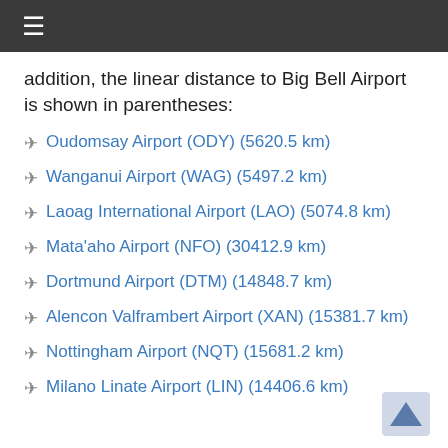≡
addition, the linear distance to Big Bell Airport is shown in parentheses:
Oudomsay Airport (ODY) (5620.5 km)
Wanganui Airport (WAG) (5497.2 km)
Laoag International Airport (LAO) (5074.8 km)
Mata'aho Airport (NFO) (30412.9 km)
Dortmund Airport (DTM) (14848.7 km)
Alencon Valframbert Airport (XAN) (15381.7 km)
Nottingham Airport (NQT) (15681.2 km)
Milano Linate Airport (LIN) (14406.6 km)